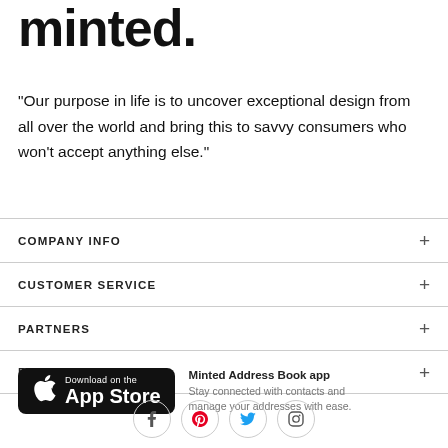minted.
"Our purpose in life is to uncover exceptional design from all over the world and bring this to savvy consumers who won't accept anything else."
COMPANY INFO
CUSTOMER SERVICE
PARTNERS
RESOURCES
[Figure (other): App Store download button for Minted Address Book app with Apple logo]
Minted Address Book app
Stay connected with contacts and manage your addresses with ease.
[Figure (other): Social media icons row: Facebook, Pinterest, Twitter, Instagram — each in a circle outline]